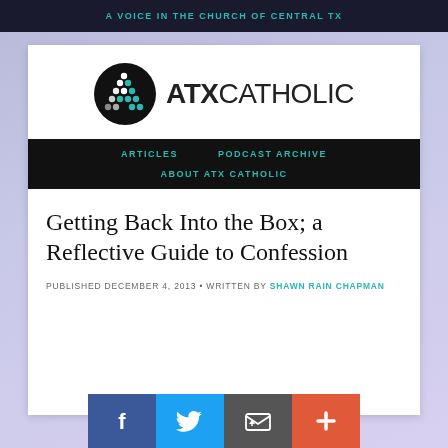A VOICE IN THE CHURCH OF CENTRAL TX
[Figure (logo): ATX Catholic logo: black circle with teal/white dot grid forming an A shape, followed by bold text ATX CATHOLIC]
ARTICLES   PODCAST ARCHIVE   ABOUT ATX CATHOLIC
Getting Back Into the Box; a Reflective Guide to Confession
PUBLISHED DECEMBER 4, 2013 • WRITTEN BY SHAWN RAIN CHAPMAN
[Figure (infographic): Social sharing buttons: Facebook (blue), Twitter (light blue), Email (gray), Plus/Share (orange-red)]